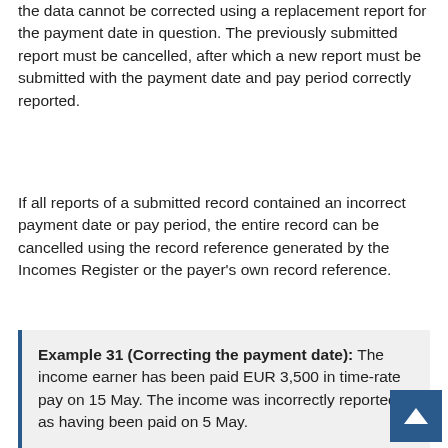the data cannot be corrected using a replacement report for the payment date in question. The previously submitted report must be cancelled, after which a new report must be submitted with the payment date and pay period correctly reported.
If all reports of a submitted record contained an incorrect payment date or pay period, the entire record can be cancelled using the record reference generated by the Incomes Register or the payer's own record reference.
Example 31 (Correcting the payment date): The income earner has been paid EUR 3,500 in time-rate pay on 15 May. The income was incorrectly reported as having been paid on 5 May.

The payer submits the report to the Incomes Register and does not notice the error: